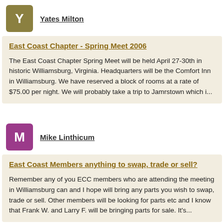Yates Milton
East Coast Chapter - Spring Meet 2006
The East Coast Chapter Spring Meet will be held April 27-30th in historic Williamsburg, Virginia. Headquarters will be the Comfort Inn in Williamsburg. We have reserved a block of rooms at a rate of $75.00 per night. We will probably take a trip to Jamrstown which i...
Mike Linthicum
East Coast Members anything to swap, trade or sell?
Remember any of you ECC members who are attending the meeting in Williamsburg can and I hope will bring any parts you wish to swap, trade or sell. Other members will be looking for parts etc and I know that Frank W. and Larry F. will be bringing parts for sale. It's...
GARY K